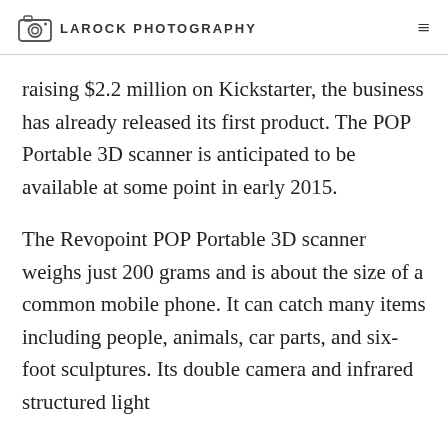LAROCK PHOTOGRAPHY
raising $2.2 million on Kickstarter, the business has already released its first product. The POP Portable 3D scanner is anticipated to be available at some point in early 2015.
The Revopoint POP Portable 3D scanner weighs just 200 grams and is about the size of a common mobile phone. It can catch many items including people, animals, car parts, and six-foot sculptures. Its double camera and infrared structured light